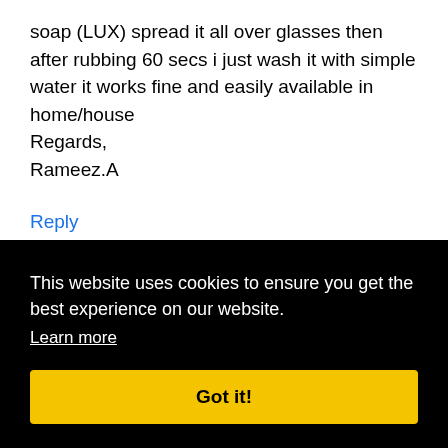soap (LUX) spread it all over glasses then after rubbing 60 secs i just wash it with simple water it works fine and easily available in home/house Regards, Rameez.A
Reply
This website uses cookies to ensure you get the best experience on our website.
Learn more
Got it!